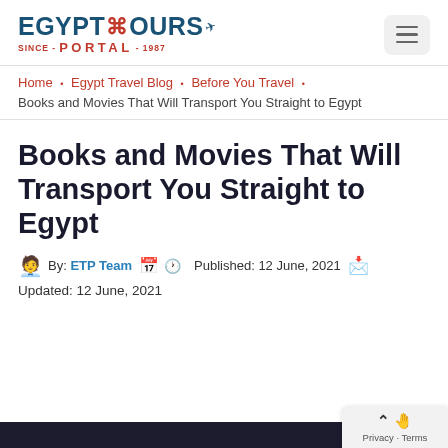[Figure (logo): Egypt Tours Portal logo with ankh symbol and airplane, Since 1987]
Home • Egypt Travel Blog • Before You Travel • Books and Movies That Will Transport You Straight to Egypt
Books and Movies That Will Transport You Straight to Egypt
By: ETP Team  Published: 12 June, 2021
Updated: 12 June, 2021